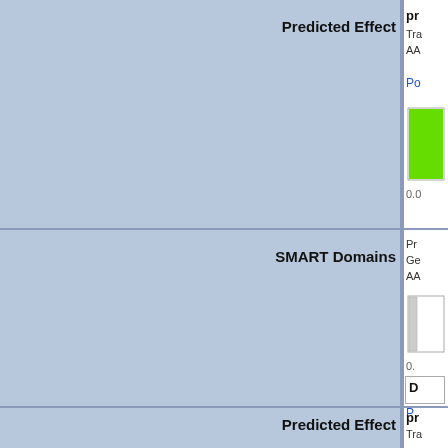| Label | Content |
| --- | --- |
| Predicted Effect | pr
Tra
AA

Po
[green bar]
0.0 |
| SMART Domains | Pr
Ge
AA
[white bar]
0.
D
P |
| Predicted Effect | pr
Tra |